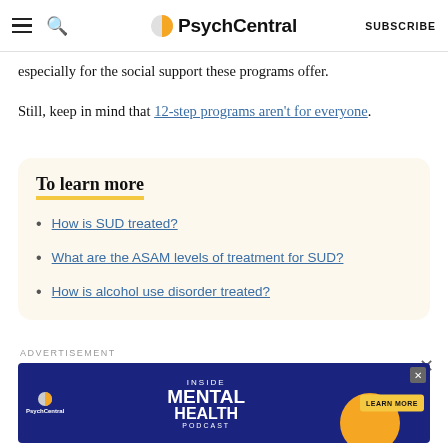PsychCentral | SUBSCRIBE
especially for the social support these programs offer.
Still, keep in mind that 12-step programs aren't for everyone.
To learn more
How is SUD treated?
What are the ASAM levels of treatment for SUD?
How is alcohol use disorder treated?
ADVERTISEMENT
[Figure (screenshot): PsychCentral advertisement banner for Inside Mental Health Podcast with yellow circle graphic and Learn More button]